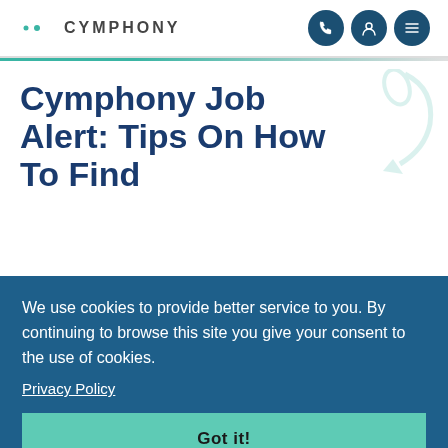CYMPHONY
Cymphony Job Alert: Tips On How To Find Employment
We use cookies to provide better service to you. By continuing to browse this site you give your consent to the use of cookies.
Privacy Policy
Got it!
The challenges created by COVID-19 have meant that there are many more people looking for employment than usual, and companies who want to recruit are not able to as their offices are closed and their existing